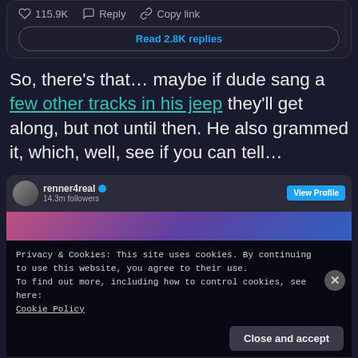[Figure (screenshot): Social media post action bar showing heart icon with 115.9K likes, Reply button, and Copy link button, followed by a 'Read 2.8K replies' button]
So, there’s that… maybe if dude sang a few other tracks in his jeep they’ll get along, but not until then. He also grammed it, which, well, see if you can tell…
[Figure (screenshot): Embedded Instagram/social profile card for renner4real with 14.3m followers and View Profile button, partially obscured by a cookie consent banner reading 'Privacy & Cookies: This site uses cookies. By continuing to use this website, you agree to their use. To find out more, including how to control cookies, see here: Cookie Policy' with a Close and accept button]